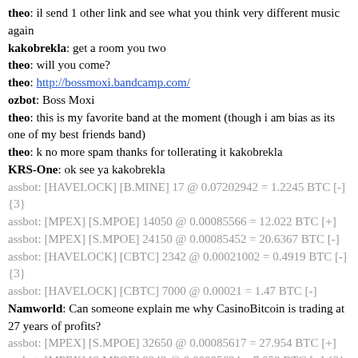theo: il send 1 other link and see what you think very different music again
kakobrekla: get a room you two
theo: will you come?
theo: http://bossmoxi.bandcamp.com/
ozbot: Boss Moxi
theo: this is my favorite band at the moment (though i am bias as its one of my best friends band)
theo: k no more spam thanks for tollerating it kakobrekla
KRS-One: ok see ya kakobrekla
assbot: [HAVELOCK] [B.MINE] 17 @ 0.07202942 = 1.2245 BTC [-] {3}
assbot: [MPEX] [S.MPOE] 14050 @ 0.00085566 = 12.022 BTC [+]
assbot: [MPEX] [S.MPOE] 24150 @ 0.00085452 = 20.6367 BTC [-]
assbot: [HAVELOCK] [CBTC] 2342 @ 0.00021002 = 0.4919 BTC [-] {3}
assbot: [HAVELOCK] [CBTC] 7000 @ 0.00021 = 1.47 BTC [-]
Namworld: Can someone explain me why CasinoBitcoin is trading at 27 years of profits?
assbot: [MPEX] [S.MPOE] 32650 @ 0.00085617 = 27.954 BTC [+]
assbot: [MPEX] [S.MPOE] 8243 @ 0.00085624 = 7.058 BTC [+] {2}